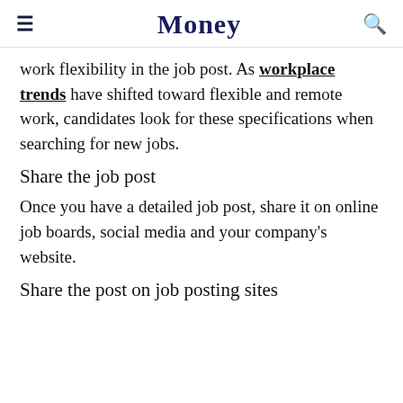Money
work flexibility in the job post. As workplace trends have shifted toward flexible and remote work, candidates look for these specifications when searching for new jobs.
Share the job post
Once you have a detailed job post, share it on online job boards, social media and your company's website.
Share the post on job posting sites